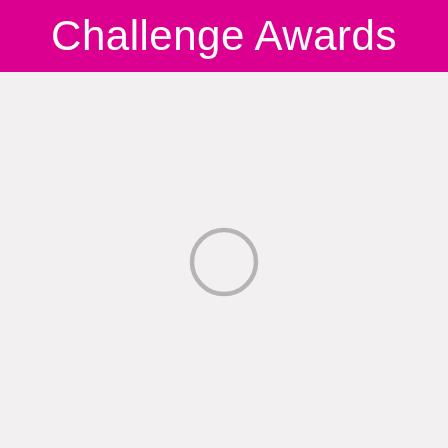Challenge Awards
[Figure (other): A loading spinner circle indicator, gray outline circle centered in the lower portion of the page]